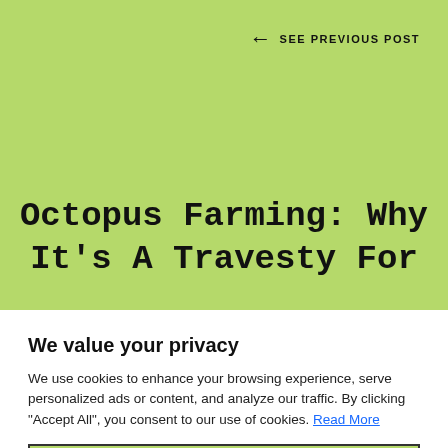← SEE PREVIOUS POST
Octopus Farming: Why It's A Travesty For
We value your privacy
We use cookies to enhance your browsing experience, serve personalized ads or content, and analyze our traffic. By clicking "Accept All", you consent to our use of cookies. Read More
Accept All
Customize
Reject All